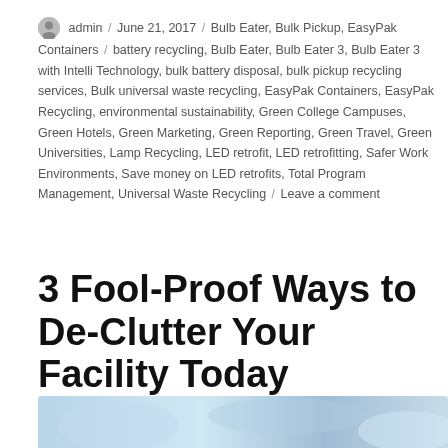admin / June 21, 2017 / Bulb Eater, Bulk Pickup, EasyPak Containers / battery recycling, Bulb Eater, Bulb Eater 3, Bulb Eater 3 with Intelli Technology, bulk battery disposal, bulk pickup recycling services, Bulk universal waste recycling, EasyPak Containers, EasyPak Recycling, environmental sustainability, Green College Campuses, Green Hotels, Green Marketing, Green Reporting, Green Travel, Green Universities, Lamp Recycling, LED retrofit, LED retrofitting, Safer Work Environments, Save money on LED retrofits, Total Program Management, Universal Waste Recycling / Leave a comment
3 Fool-Proof Ways to De-Clutter Your Facility Today
[Figure (photo): Partial view of a photo at the bottom of the page showing a blue-toned image, likely related to recycling or facility management.]